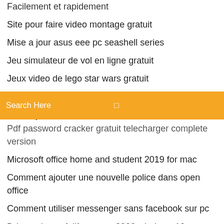Facilement et rapidement
Site pour faire video montage gratuit
Mise a jour asus eee pc seashell series
Jeu simulateur de vol en ligne gratuit
Jeux video de lego star wars gratuit
Le jeux de subway surfers gratuit
Mise a jour directx 11 windows 8.1
Search Here
Pdf password cracker gratuit telecharger complete version
Microsoft office home and student 2019 for mac
Comment ajouter une nouvelle police dans open office
Comment utiliser messenger sans facebook sur pc
Driver microsoft lifecam vx-3000 windows 10
Fifa 17 demo télécharger pc bez klucza
X plane 11 demo mac
Comment faire une video sur facebook
Winrar file gratuit télécharger for windows 7 32 bit
Registry cleaner windows 10 best
Prévention réseaux sociaux windows 10